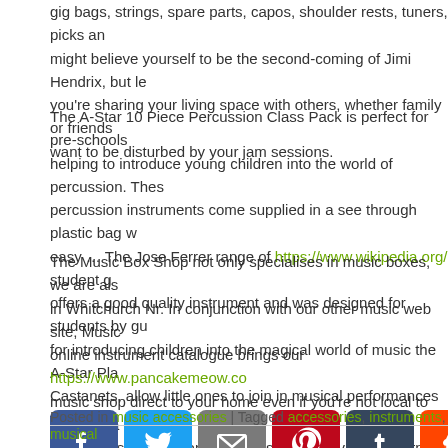gig bags, strings, spare parts, capos, shoulder rests, tuners, picks and more. You might believe yourself to be the second-coming of Jimi Hendrix, but let's face it, if you're sharing your living space with others, whether family or friends, they may not want to be disturbed by your jam sessions.
The A-Star 10 Piece Percussion Class Pack is perfect for pre-schools and schools, helping to introduce young children into the world of percussion. These starter percussion instruments come supplied in a see through plastic bag which makes storage easy … The Jose Ferrer range of https://www.wikipedia.org/ student guitars offers a good quality instrument and was designed for students by guitar teachers. for introducing children into the magical world of music the A-Star Plastic Castanets, allow little ones to join in musical performances without a …
The Music Box Shop not only specialises in music boxes, we are also a music shop in Whitchurch Nr. In conjunction with our other music web site, Music Scene, our online instrument catalogue brings our https://www.pancakemeow.com/ music shop direct to your home even if you're not local to us! You can buy musical instruments and products securely via the internet for delivery at direct prices!
[Figure (infographic): Social media sharing icons row: Facebook (blue), Twitter (blue), Email (grey/blue), Pinterest (red), Tumblr (dark blue), Reddit (orange-red), LinkedIn (blue), WhatsApp (green), Blogger (orange), Gmail (red/white), Telegram (blue) - partially visible]
Posted in music accessories | Tagged accessories, instruments, musical